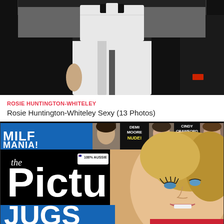[Figure (photo): A person wearing a white outfit (white shirt and white pants) with black elements visible at the edges, photographed from mid-torso down]
ROSIE HUNTINGTON-WHITELEY
Rosie Huntington-Whiteley Sexy (13 Photos)
[Figure (photo): Magazine cover of 'the Picture' (partially visible as 'the Pictu') featuring a MILF MANIA banner at top with celebrity thumbnails for Demi Moore (NUDE!), Cindy Crawford (TOPLESS!), and Sofia Vergara (NUDE!). The main cover shows a blonde woman. Bottom text shows partial 'JUGS' in large white letters on blue background. '100% AUSSIE' badge and issue #1453 visible.]